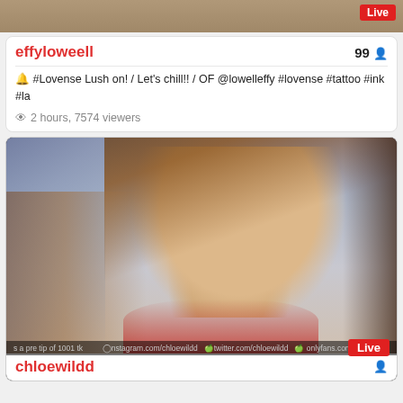[Figure (screenshot): Top strip of a livestream video thumbnail, partial view, with red Live badge in top right corner]
effyloweell
99
🔔 #Lovense Lush on! / Let's chill!! / OF @lowelleffy #lovense #tattoo #ink #la
👁 2 hours, 7574 viewers
[Figure (screenshot): Livestream video of a young woman with long brown hair, wearing a red top, looking down, with social media handles visible at the bottom and a Live badge in the bottom right]
chloewildd